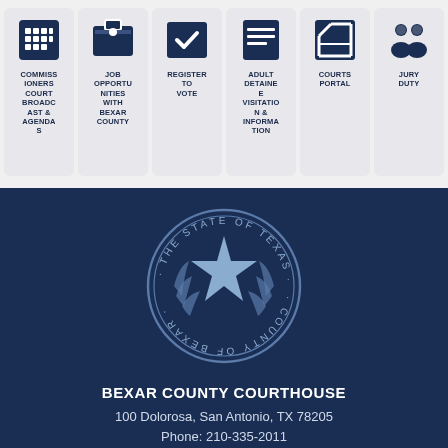[Figure (infographic): Six navigation icon cards: Commissioners Court Broadcast & Agendas, Job Opportunities with Bexar County, Register to Vote, Adult Detainee Visitation & Information, Courts Portal, Jury Duty]
[Figure (logo): Circular seal: The State of Texas, County of Bexar - featuring a star and wreath]
BEXAR COUNTY COURTHOUSE
100 Dolorosa, San Antonio, TX 78205
Phone: 210-335-2011